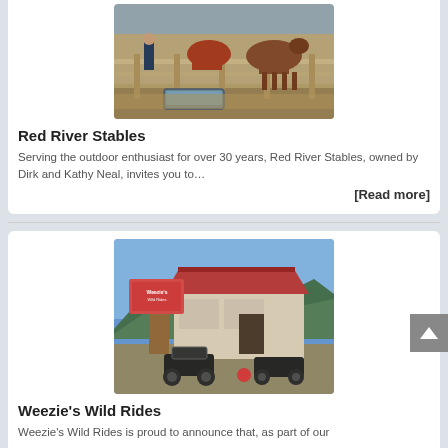[Figure (photo): Photo of horses at a stable with wooden fence railings and a water trough in the foreground]
Red River Stables
Serving the outdoor enthusiast for over 30 years, Red River Stables, owned by Dirk and Kathy Neal, invites you to…
[Read more]
[Figure (photo): Photo of Weezie's Wild Rides ATV rental shop with red roof, ATVs parked in front, mountains and blue sky in background]
Weezie's Wild Rides
Weezie's Wild Rides is proud to announce that, as part of our